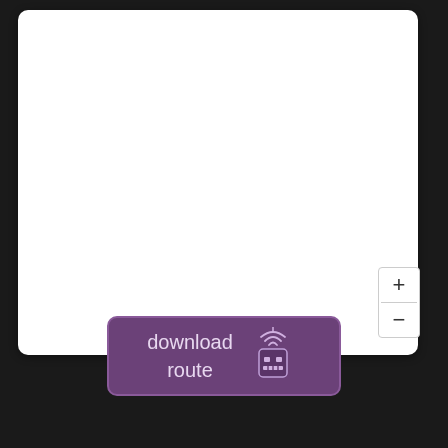[Figure (screenshot): White map area with rounded corners on dark background]
[Figure (other): Zoom controls with + and - buttons on the map]
[Figure (other): Purple download route button with robot/antenna icon]